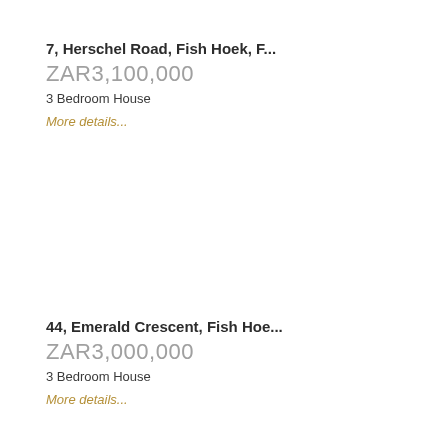7, Herschel Road, Fish Hoek, F...
ZAR3,100,000
3 Bedroom House
More details...
44, Emerald Crescent, Fish Hoe...
ZAR3,000,000
3 Bedroom House
More details...